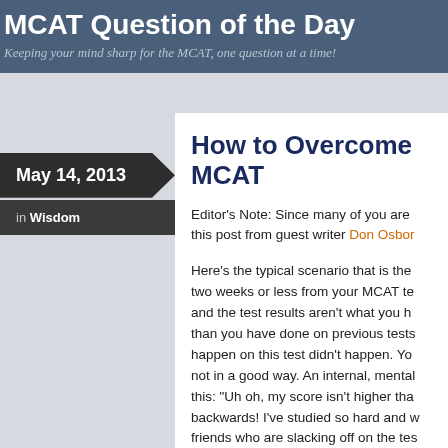MCAT Question of the Day
Keeping your mind sharp for the MCAT, one question at a time!
May 14, 2013
in Wisdom
How to Overcome MCAT
Editor's Note: Since many of you are this post from guest writer Don Osborn
Here's the typical scenario that is the two weeks or less from your MCAT te and the test results aren't what you h than you have done on previous tests happen on this test didn't happen. Yo not in a good way. An internal, mental this: "Uh oh, my score isn't higher tha backwards! I've studied so hard and w friends who are slacking off on the tes